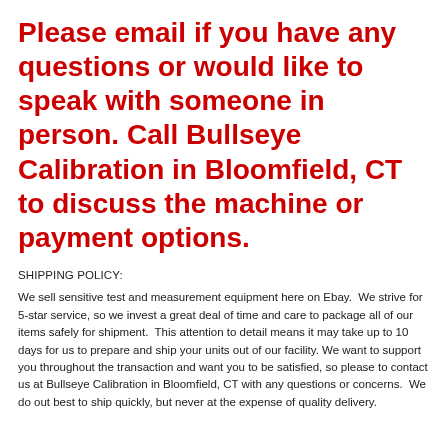Please email if you have any questions or would like to speak with someone in person. Call Bullseye Calibration in Bloomfield, CT to discuss the machine or payment options.
SHIPPING POLICY:
We sell sensitive test and measurement equipment here on Ebay.  We strive for 5-star service, so we invest a great deal of time and care to package all of our items safely for shipment.  This attention to detail means it may take up to 10 days for us to prepare and ship your units out of our facility. We want to support you throughout the transaction and want you to be satisfied, so please to contact us at Bullseye Calibration in Bloomfield, CT with any questions or concerns.  We do out best to ship quickly, but never at the expense of quality delivery.